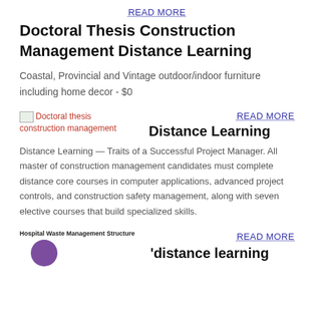READ MORE
Doctoral Thesis Construction Management Distance Learning
Coastal, Provincial and Vintage outdoor/indoor furniture including home decor - $0
[Figure (illustration): Broken image placeholder for Doctoral thesis construction management]
READ MORE
Distance Learning
Distance Learning — Traits of a Successful Project Manager. All master of construction management candidates must complete distance core courses in computer applications, advanced project controls, and construction safety management, along with seven elective courses that build specialized skills.
[Figure (illustration): Hospital Waste Management Structure image with purple circle icon]
READ MORE
'distance learning